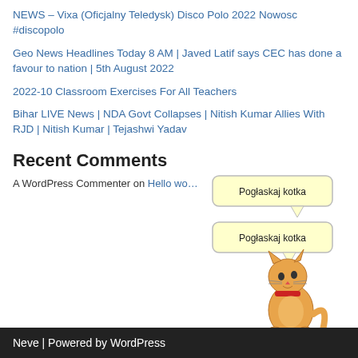NEWS – Vixa (Oficjalny Teledysk) Disco Polo 2022 Nowosc #discopolo
Geo News Headlines Today 8 AM | Javed Latif says CEC has done a favour to nation | 5th August 2022
2022-10 Classroom Exercises For All Teachers
Bihar LIVE News | NDA Govt Collapses | Nitish Kumar Allies With RJD | Nitish Kumar | Tejashwi Yadav
Recent Comments
A WordPress Commenter on Hello wo…
[Figure (illustration): Cartoon cat with two speech bubbles saying 'Pogłaskaj kotka']
Neve | Powered by WordPress